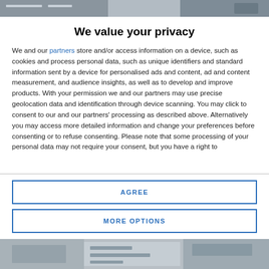[Figure (screenshot): Top strip showing partial newspaper/website header image with dark tones]
We value your privacy
We and our partners store and/or access information on a device, such as cookies and process personal data, such as unique identifiers and standard information sent by a device for personalised ads and content, ad and content measurement, and audience insights, as well as to develop and improve products. With your permission we and our partners may use precise geolocation data and identification through device scanning. You may click to consent to our and our partners' processing as described above. Alternatively you may access more detailed information and change your preferences before consenting or to refuse consenting. Please note that some processing of your personal data may not require your consent, but you have a right to
AGREE
MORE OPTIONS
[Figure (screenshot): Bottom strip showing partial newspaper front page image]